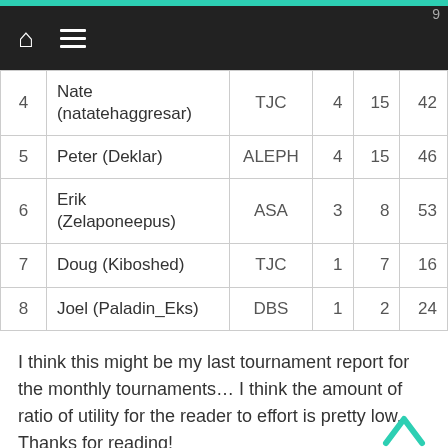| # | Name | Team | W | L | Pts |
| --- | --- | --- | --- | --- | --- |
| 4 | Nate (natatehaggresar) | TJC | 4 | 15 | 42 |
| 5 | Peter (Deklar) | ALEPH | 4 | 15 | 46 |
| 6 | Erik (Zelaponeepus) | ASA | 3 | 8 | 53 |
| 7 | Doug (Kiboshed) | TJC | 1 | 7 | 16 |
| 8 | Joel (Paladin_Eks) | DBS | 1 | 2 | 24 |
I think this might be my last tournament report for the monthly tournaments… I think the amount of ratio of utility for the reader to effort is pretty low.  Thanks for reading!